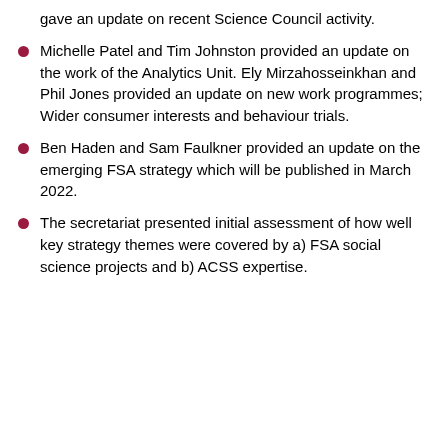gave an update on recent Science Council activity.
Michelle Patel and Tim Johnston provided an update on the work of the Analytics Unit. Ely Mirzahosseinkhan and Phil Jones provided an update on new work programmes; Wider consumer interests and behaviour trials.
Ben Haden and Sam Faulkner provided an update on the emerging FSA strategy which will be published in March 2022.
The secretariat presented initial assessment of how well key strategy themes were covered by a) FSA social science projects and b) ACSS expertise.